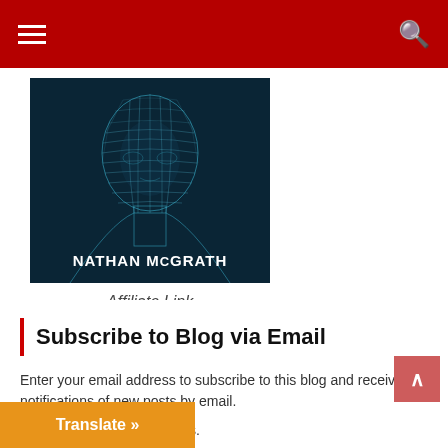Navigation bar with hamburger menu and search icon
[Figure (illustration): Book or digital artwork cover image showing a wireframe/polygon human head and shoulders in blue-green tones on dark background. Text reads NATHAN McGRATH at the bottom.]
Affiliate Link
Subscribe to Blog via Email
Enter your email address to subscribe to this blog and receive notifications of new posts by email.
Join 5,764 other subscribers.
Email Address